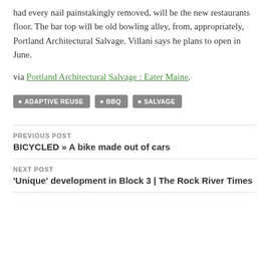had every nail painstakingly removed, will be the new restaurants floor. The bar top will be old bowling alley, from, appropriately, Portland Architectural Salvage. Villani says he plans to open in June.
via Portland Architectural Salvage : Eater Maine.
ADAPTIVE REUSE
BBQ
SALVAGE
PREVIOUS POST
BICYCLED » A bike made out of cars
NEXT POST
'Unique' development in Block 3 | The Rock River Times